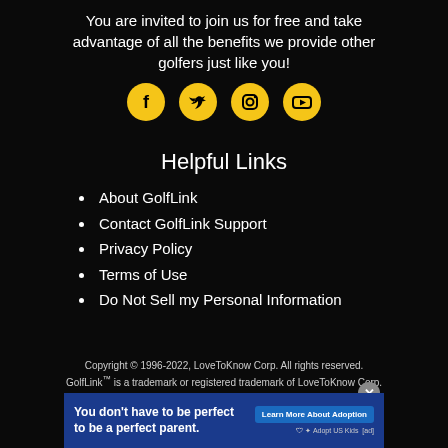You are invited to join us for free and take advantage of all the benefits we provide other golfers just like you!
[Figure (illustration): Four social media icons (Facebook, Twitter, Instagram, YouTube) as yellow circles with black symbols]
Helpful Links
About GolfLink
Contact GolfLink Support
Privacy Policy
Terms of Use
Do Not Sell my Personal Information
Copyright © 1996-2022, LoveToKnow Corp. All rights reserved. GolfLink™ is a trademark or registered trademark of LoveToKnow Corp.
[Figure (infographic): Advertisement banner: You don't have to be perfect to be a perfect parent. Learn More About Adoption. Adopt US Kids logo.]